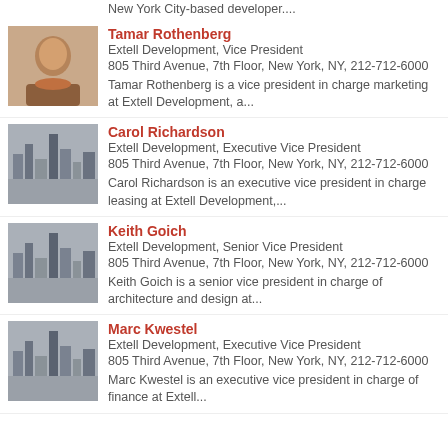New York City-based developer....
Tamar Rothenberg
Extell Development, Vice President
805 Third Avenue, 7th Floor, New York, NY, 212-712-6000
Tamar Rothenberg is a vice president in charge marketing at Extell Development, a...
Carol Richardson
Extell Development, Executive Vice President
805 Third Avenue, 7th Floor, New York, NY, 212-712-6000
Carol Richardson is an executive vice president in charge leasing at Extell Development,...
Keith Goich
Extell Development, Senior Vice President
805 Third Avenue, 7th Floor, New York, NY, 212-712-6000
Keith Goich is a senior vice president in charge of architecture and design at...
Marc Kwestel
Extell Development, Executive Vice President
805 Third Avenue, 7th Floor, New York, NY, 212-712-6000
Marc Kwestel is an executive vice president in charge of finance at Extell...